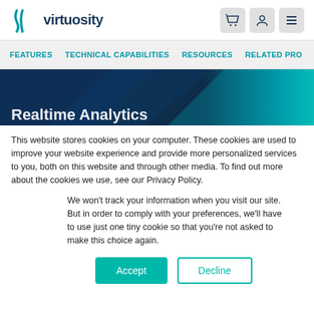[Figure (logo): Virtuosity logo with teal swoosh icon and dark blue text]
FEATURES   TECHNICAL CAPABILITIES   RESOURCES   RELATED PRO
[Figure (photo): Dark navy and teal geometric hero banner with partial white bold text visible at bottom]
This website stores cookies on your computer. These cookies are used to improve your website experience and provide more personalized services to you, both on this website and through other media. To find out more about the cookies we use, see our Privacy Policy.
We won't track your information when you visit our site. But in order to comply with your preferences, we'll have to use just one tiny cookie so that you're not asked to make this choice again.
Accept   Decline